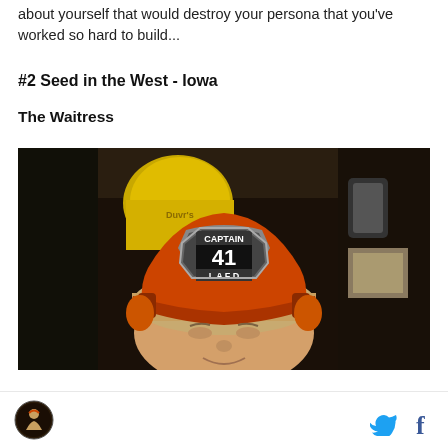about yourself that would destroy your persona that you've worked so hard to build...
#2 Seed in the West - Iowa
The Waitress
[Figure (photo): Woman wearing an orange LAFD Captain 41 firefighter helmet, smiling, photographed from below inside what appears to be a fire truck cab, with yellow equipment visible in background]